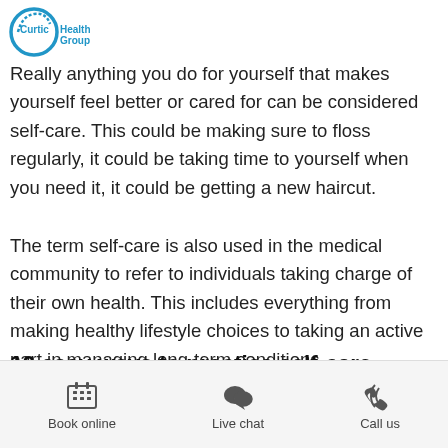Curtic Health Group
Really anything you do for yourself that makes yourself feel better or cared for can be considered self-care. This could be making sure to floss regularly, it could be taking time to yourself when you need it, it could be getting a new haircut.
The term self-care is also used in the medical community to refer to individuals taking charge of their own health. This includes everything from making healthy lifestyle choices to taking an active part in managing long-term conditions.
10 easy ways to practice self-care without spending money
Book online | Live chat | Call us